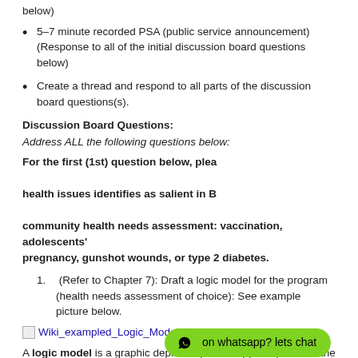below)
5–7 minute recorded PSA (public service announcement) (Response to all of the initial discussion board questions below)
Create a thread and respond to all parts of the discussion board questions(s).
Discussion Board Questions:
Address ALL the following questions below:
For the first (1st) question below, please health issues identifies as salient in B... community health needs assessment: vaccination, adolescents' pregnancy, gunshot wounds, or type 2 diabetes.
(Refer to Chapter 7): Draft a logic model for the program (health needs assessment of choice): See example picture below.
[Figure (other): Broken image placeholder for Wiki_exampled_Logic_Model.png]
A logic model is a graphic depiction (road map) that presents the shared relationships among the resources, activities, outputs, and outcomes/impacts for your program. It depicts the relationship between